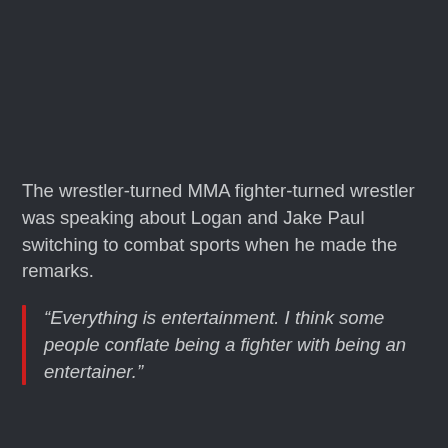The wrestler-turned MMA fighter-turned wrestler was speaking about Logan and Jake Paul switching to combat sports when he made the remarks.
“Everything is entertainment. I think some people conflate being a fighter with being an entertainer.”